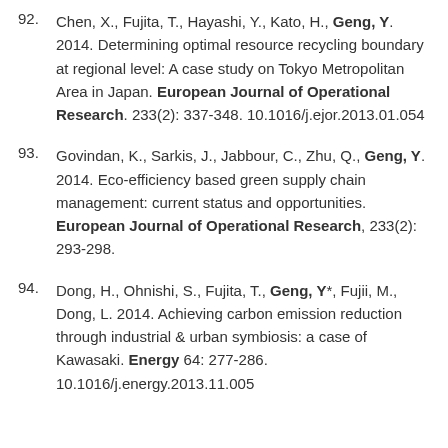92. Chen, X., Fujita, T., Hayashi, Y., Kato, H., Geng, Y. 2014. Determining optimal resource recycling boundary at regional level: A case study on Tokyo Metropolitan Area in Japan. European Journal of Operational Research. 233(2): 337-348. 10.1016/j.ejor.2013.01.054
93. Govindan, K., Sarkis, J., Jabbour, C., Zhu, Q., Geng, Y. 2014. Eco-efficiency based green supply chain management: current status and opportunities. European Journal of Operational Research, 233(2): 293-298.
94. Dong, H., Ohnishi, S., Fujita, T., Geng, Y*, Fujii, M., Dong, L. 2014. Achieving carbon emission reduction through industrial & urban symbiosis: a case of Kawasaki. Energy 64: 277-286. 10.1016/j.energy.2013.11.005